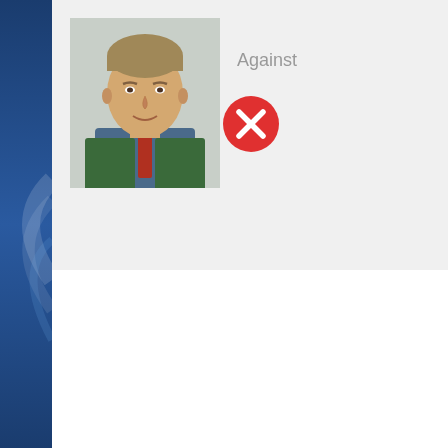[Figure (photo): Portrait photo of a middle-aged man with light hair wearing a green jacket and patterned tie]
Against
[Figure (other): Red circle with white X icon indicating vote against]
All participants in the vote
Order by: Member | Country | Political group | Voting
Ms Boriana ÅBERG
Ms Thórhildur Sunna ÆVARSDÓTTIR
Mr Ziya ALTUNYALDIZ
Ms Iwona ARENT
Mr Volodymyr ARIEV